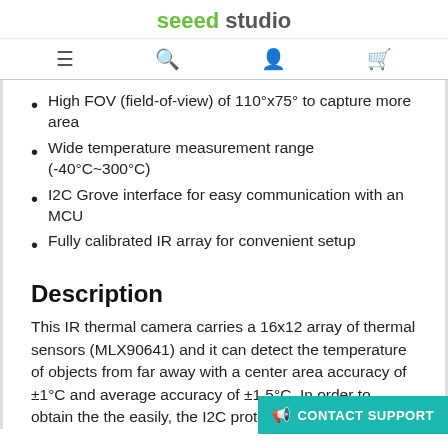seeed studio
High FOV (field-of-view) of 110°x75° to capture more area
Wide temperature measurement range (-40°C~300°C)
I2C Grove interface for easy communication with an MCU
Fully calibrated IR array for convenient setup
Description
This IR thermal camera carries a 16x12 array of thermal sensors (MLX90641) and it can detect the temperature of objects from far away with a center area accuracy of ±1°C and average accuracy of ±1.5°C. In order to obtain the the easily, the I2C protocol is used to